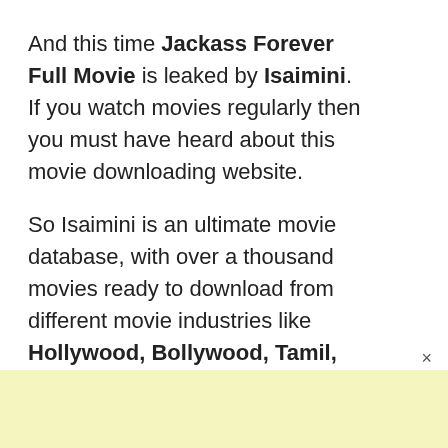And this time Jackass Forever Full Movie is leaked by Isaimini. If you watch movies regularly then you must have heard about this movie downloading website.
So Isaimini is an ultimate movie database, with over a thousand movies ready to download from different movie industries like Hollywood, Bollywood, Tamil, Telugu, and all south Indian movies and all these movies are free of cost.
[Figure (other): Yellow advertisement banner block at the bottom of the page]